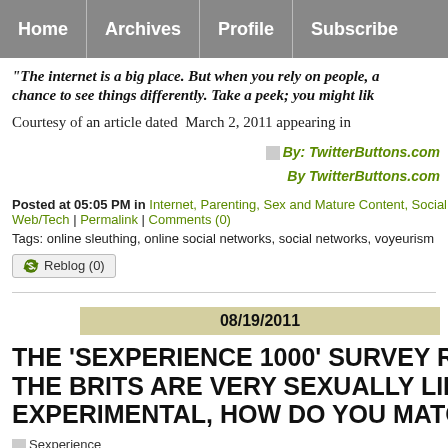Home | Archives | Profile | Subscribe
"The internet is a big place. But when you rely on people, a chance to see things differently. Take a peek; you might lik
Courtesy of an article dated  March 2, 2011 appearing in
[Figure (other): By: TwitterButtons.com logo/button image with text 'By TwitterButtons.com']
Posted at 05:05 PM in Internet, Parenting, Sex and Mature Content, Social Web/Tech | Permalink | Comments (0)
Tags: online sleuthing, online social networks, social networks, voyeurism
Reblog (0)
08/19/2011
THE 'SEXPERIENCE 1000' SURVEY RE THE BRITS ARE VERY SEXUALLY LIB EXPERIMENTAL, HOW DO YOU MATC
[Figure (other): Sexperience image placeholder]